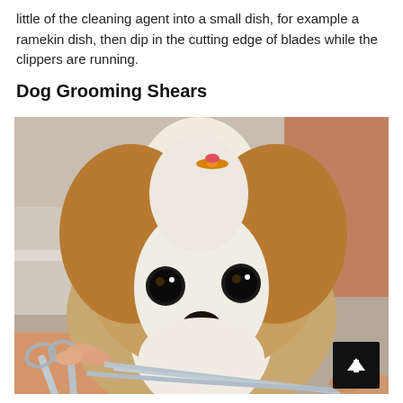little of the cleaning agent into a small dish, for example a ramekin dish, then dip in the cutting edge of blades while the clippers are running.
Dog Grooming Shears
[Figure (photo): A small Shih Tzu dog with brown and white fur and a small orange hair clip on top of its head, being groomed with scissors/shears held by a person's hands in the foreground. The dog faces the camera with large dark eyes and a black nose. Background shows a grooming salon setting.]